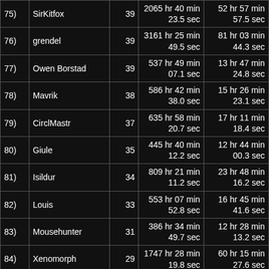| Rank | Name | Count | Total Time | Avg Time |
| --- | --- | --- | --- | --- |
| 75) | SirKitfox | 39 | 2065 hr 40 min 23.5 sec | 52 hr 57 min 57.5 sec |
| 76) | grendel | 39 | 3161 hr 25 min 49.5 sec | 81 hr 03 min 44.3 sec |
| 77) | Owen Borstad | 39 | 537 hr 49 min 07.1 sec | 13 hr 47 min 24.8 sec |
| 78) | Mavrik | 38 | 586 hr 42 min 38.0 sec | 15 hr 26 min 23.1 sec |
| 79) | CirclMastr | 37 | 635 hr 58 min 20.7 sec | 17 hr 11 min 18.4 sec |
| 80) | Giule | 35 | 445 hr 40 min 12.2 sec | 12 hr 44 min 00.3 sec |
| 81) | Isildur | 34 | 809 hr 21 min 11.2 sec | 23 hr 48 min 16.2 sec |
| 82) | Louis | 33 | 553 hr 07 min 52.8 sec | 16 hr 45 min 41.6 sec |
| 83) | Mousehunter | 31 | 386 hr 34 min 49.7 sec | 12 hr 28 min 13.2 sec |
| 84) | Xenomorph | 29 | 1747 hr 28 min 19.8 sec | 60 hr 15 min 27.6 sec |
| 85) | Lady of lightning | 29 | 1713 hr 35 min 05.3 sec | 59 hr 05 min 20.9 sec |